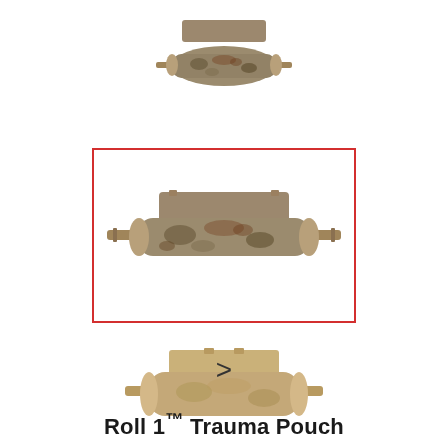[Figure (photo): Small multicam roll trauma pouch, viewed from front, compact size]
[Figure (photo): Medium multicam roll trauma pouch in red selection box, viewed from front]
[Figure (photo): Large multicam roll trauma pouch, viewed from front, tan/coyote color]
>
Roll 1™ Trauma Pouch